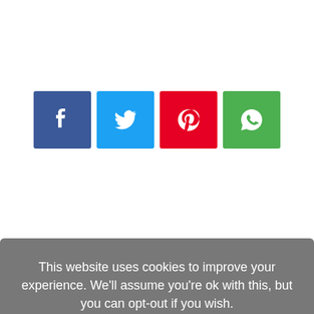[Figure (infographic): Four social share buttons in a row: Facebook (blue), Twitter (light blue), Pinterest (red), WhatsApp (green)]
This website uses cookies to improve your experience. We'll assume you're ok with this, but you can opt-out if you wish. Cookie settings  ACCEPT
All signs point to the new uptrend beginning. Halving-based cycle theories point to a new peak by the end of next year. Targets reach as high as $325,000 at the peak. But what if Bitcoin cycles, as analysts on the other side of the argument claim, are lengthening? A new, unique perspective on Bitcoin market cycles may shed some light on what to expect in terms of timing the next peak, and potential targets.